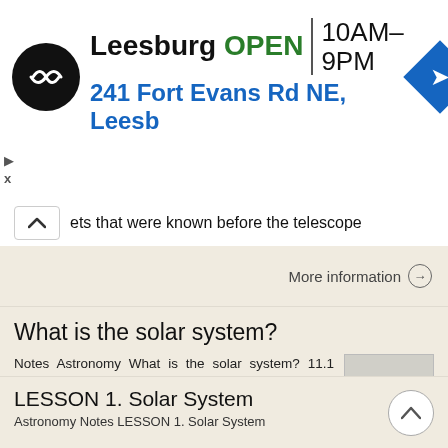[Figure (screenshot): Advertisement banner for a store in Leesburg showing logo, OPEN status, hours 10AM-9PM, address 241 Fort Evans Rd NE, Leesb, and navigation arrow diamond icon]
ets that were known before the telescope
More information →
What is the solar system?
Notes Astronomy What is the solar system? 11.1 Structure of the Solar System Our solar system includes planets and dwarf planets, their moons, a star called the Sun, asteroids and comets. Planets, dwarf
More information →
LESSON 1. Solar System
Astronomy Notes LESSON 1. Solar System